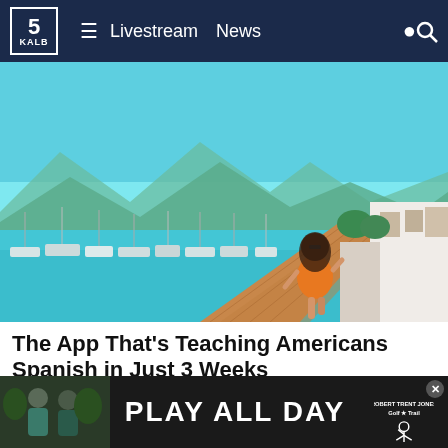5 KALB | Livestream  News
[Figure (photo): Woman in orange floral dress walking on a wooden boardwalk along a marina with sailboats, turquoise water, and white buildings in a Mediterranean coastal town under a clear blue sky.]
The App That's Teaching Americans Spanish in Just 3 Weeks
Babbel | Sponsored
[Figure (photo): Ad banner: thumbnail of two people outdoors, main text 'PLAY ALL DAY', Robert Trent Jones Golf Trail logo on right side.]